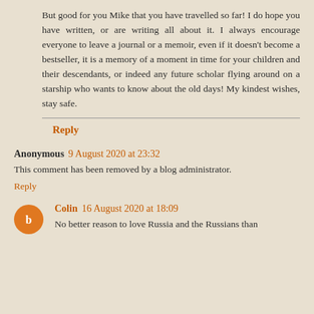But good for you Mike that you have travelled so far! I do hope you have written, or are writing all about it. I always encourage everyone to leave a journal or a memoir, even if it doesn't become a bestseller, it is a memory of a moment in time for your children and their descendants, or indeed any future scholar flying around on a starship who wants to know about the old days! My kindest wishes, stay safe.
Reply
Anonymous  9 August 2020 at 23:32
This comment has been removed by a blog administrator.
Reply
Colin  16 August 2020 at 18:09
No better reason to love Russia and the Russians than